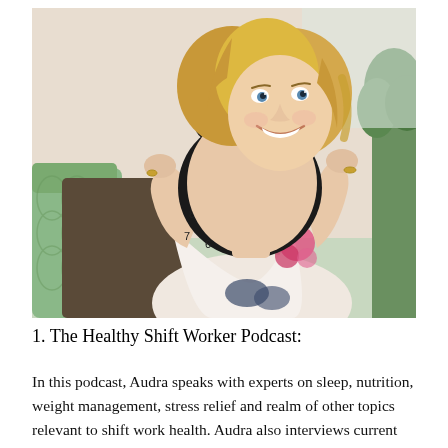[Figure (photo): A smiling blonde woman holding a black alarm clock up near her face. She is wearing a white dress with pink and blue butterfly/floral print. The background shows a living room setting with green cushions and plants.]
1. The Healthy Shift Worker Podcast:
In this podcast, Audra speaks with experts on sleep, nutrition, weight management, stress relief and realm of other topics relevant to shift work health. Audra also interviews current and former shift workers from an array of different industries and